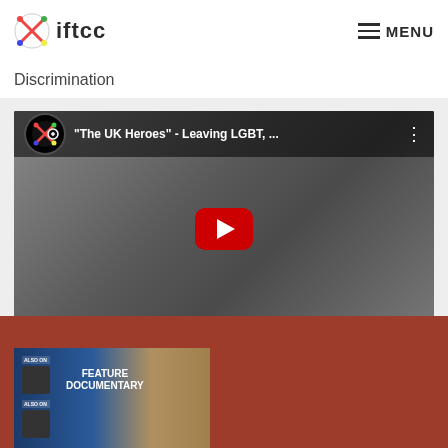iftcc  MENU
Discrimination
[Figure (screenshot): YouTube video thumbnail: 'The UK Heroes - Leaving LGBT, ...' showing five people standing in a black and white street scene with a red YouTube play button overlay and IFTCC logo icon in the top left.]
[Figure (screenshot): Feature Documentary thumbnail showing Also On labels with icons and a Documentary title card against a blue and golden background.]